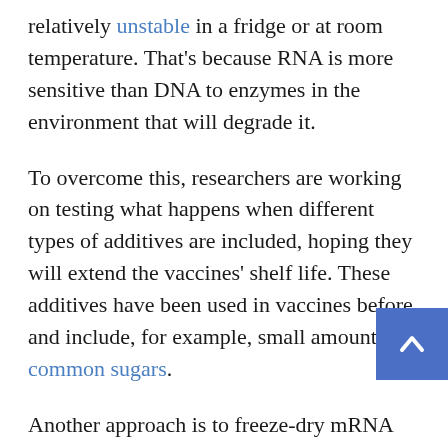relatively unstable in a fridge or at room temperature. That's because RNA is more sensitive than DNA to enzymes in the environment that will degrade it.
To overcome this, researchers are working on testing what happens when different types of additives are included, hoping they will extend the vaccines' shelf life. These additives have been used in vaccines before and include, for example, small amounts of common sugars.
Another approach is to freeze-dry mRNA vaccines into a powder for storage. The idea is to then add water to 'reconstitute' the vaccine powder before injection. California-based company Arcturus is trialling this strategy in a phase 3 clinical trial in Singapore.